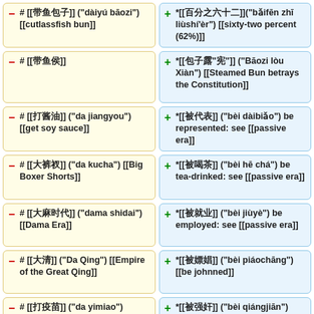# [[带鱼包子]] ("dàiyú bāozi") [[cutlassfish bun]]
*[[百分之六十二]]("bǎifēn zhī liùshí'èr") [[sixty-two percent (62%)]]
# [[带鱼侯]]
*[[包子露"宪"]] ("Bāozi lòu Xiàn") [[Steamed Bun betrays the Constitution]]
# [[打酱油]] ("da jiangyou") [[get soy sauce]]
*[[被代表]] ("bèi dàibiǎo") be represented: see [[passive era]]
# [[大裤衩]] ("da kucha") [[Big Boxer Shorts]]
*[[被喝茶]] ("bèi hē chá") be tea-drinked: see [[passive era]]
# [[大麻时代]] ("dama shidai") [[Dama Era]]
*[[被就业]] ("bèi jiùyè") be employed: see [[passive era]]
# [[大清]] ("Da Qing") [[Empire of the Great Qing]]
*[[被嫖娼]] ("bèi piáochāng") [[be johnned]]
# [[打疫苗]] ("da yimiao")
*[[被强奸]] ("bèi qiángjian")